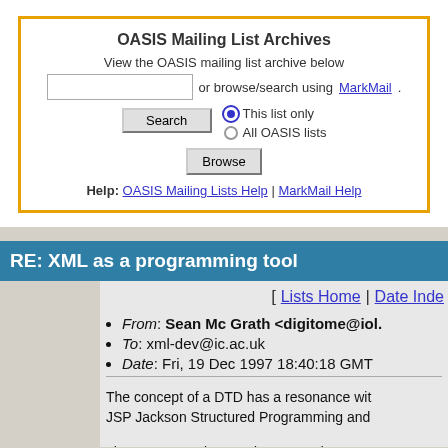OASIS Mailing List Archives
View the OASIS mailing list archive below or browse/search using MarkMail.
Help: OASIS Mailing Lists Help | MarkMail Help
RE: XML as a programming tool
[ Lists Home | Date Inde
From: Sean Mc Grath <digitome@iol.
To: xml-dev@ic.ac.uk
Date: Fri, 19 Dec 1997 18:40:18 GMT
The concept of a DTD has a resonance with JSP Jackson Structured Programming and
I have on occasion used DTDs to documen